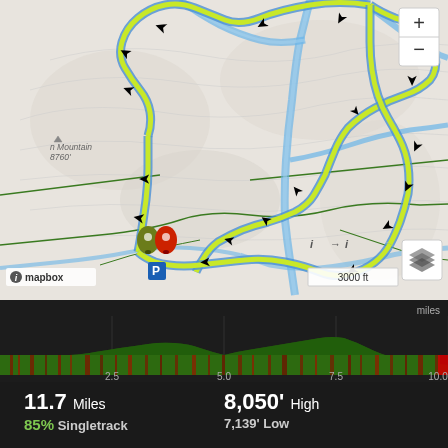[Figure (map): Trail map showing a mountain biking or hiking route with yellow-green highlighted path over topographic map. Route markers with arrows showing direction. Start/end markers shown with red and olive drop pins near a parking (P) symbol. Map includes blue river/stream features and green trail lines. 'n Mountain 8760'' label visible in upper left. Mapbox attribution and zoom controls visible.]
[Figure (area-chart): Elevation profile chart showing terrain over approximately 11.7 miles. Green and dark red/brown striped bars indicate trail surface type. X-axis shows miles at 2.5, 5.0, 7.5, 10.0.]
11.7 Miles
8,050' High
85% Singletrack
7,139' Low